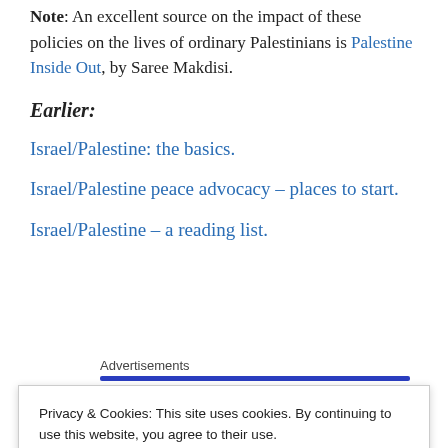Note: An excellent source on the impact of these policies on the lives of ordinary Palestinians is Palestine Inside Out, by Saree Makdisi.
Earlier:
Israel/Palestine: the basics.
Israel/Palestine peace advocacy – places to start.
Israel/Palestine – a reading list.
Advertisements
Privacy & Cookies: This site uses cookies. By continuing to use this website, you agree to their use.
To find out more, including how to control cookies, see here: Cookie Policy
Close and accept
Works Best